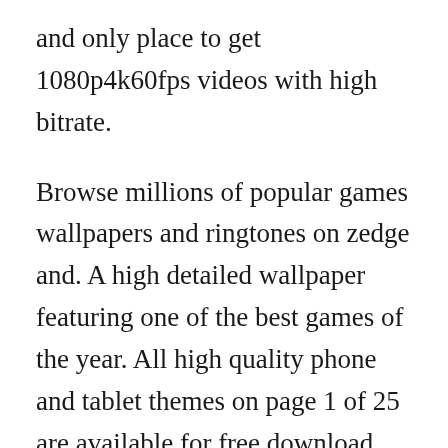and only place to get 1080p4k60fps videos with high bitrate.
Browse millions of popular games wallpapers and ringtones on zedge and. A high detailed wallpaper featuring one of the best games of the year. All high quality phone and tablet themes on page 1 of 25 are available for free download. Download god of war 3 pc game full version free download. All we ask is for you in return is to simply spread the words about mobile9 to your friends and family. The premium download includes four different